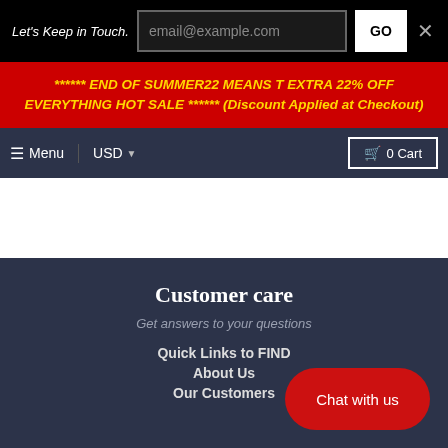Let's Keep in Touch.
email@example.com
GO
×
****** END OF SUMMER22 MEANS T EXTRA 22% OFF EVERYTHING HOT SALE ****** (Discount Applied at Checkout)
☰ Menu  |  USD ▾  |  🛍 0 Cart
Customer care
Get answers to your questions
Quick Links to FIND
About Us
Our Customers
Chat with us